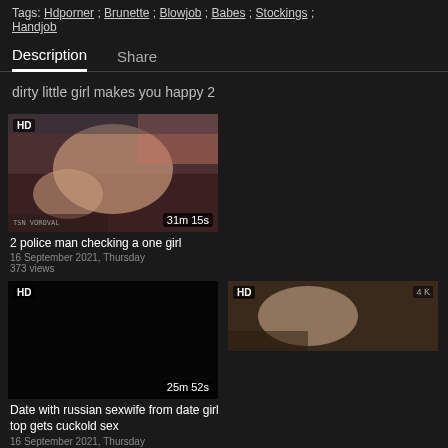Tags: Hdporner ; Brunette ; Blowjob ; Babes ; Stockings ; Handjob
Description   Share
dirty little girl makes you happy 2
[Figure (photo): HD video thumbnail - 2 police man checking a one girl, 31m 15s]
2 police man checking a one girl
16 September 2021, Thursday
373 views
[Figure (photo): HD video thumbnail - Date with russian sexwife from date girl top gets cuckold sex, 25m 52s, black/dark thumbnail]
Date with russian sexwife from date girl top gets cuckold sex
16 September 2021, Thursday
399 views
[Figure (photo): HD video thumbnail - bottom left, partial view]
[Figure (photo): HD video thumbnail - bottom right, partial view]